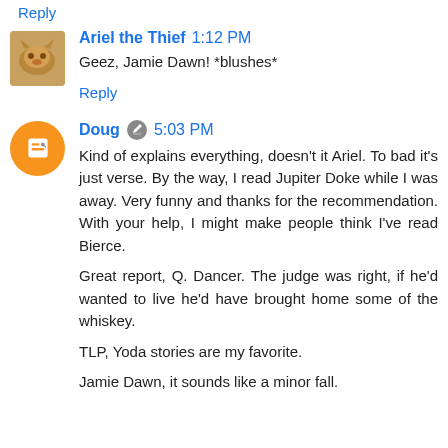Reply
Ariel the Thief 1:12 PM
Geez, Jamie Dawn! *blushes*
Reply
Doug 5:03 PM
Kind of explains everything, doesn't it Ariel. To bad it's just verse. By the way, I read Jupiter Doke while I was away. Very funny and thanks for the recommendation. With your help, I might make people think I've read Bierce.
Great report, Q. Dancer. The judge was right, if he'd wanted to live he'd have brought home some of the whiskey.
TLP, Yoda stories are my favorite.
Jamie Dawn, it sounds like a minor fall.